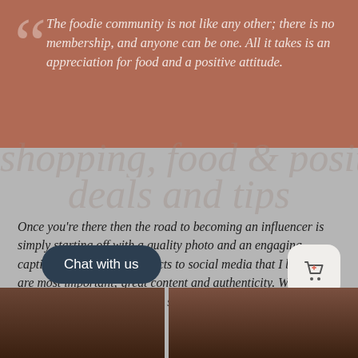The foodie community is not like any other; there is no membership, and anyone can be one. All it takes is an appreciation for food and a positive attitude.
Once you're there then the road to becoming an influencer is simply starting off with a quality photo and an engaging caption. There are two aspects to social media that I believe are most important; great content and authenticity. Wherever you can implement those two strategies then the audience will follow.
[Figure (screenshot): Bottom section showing a 'Chat with us' button on the left and a shopping cart icon button on the right, with photo thumbnails below]